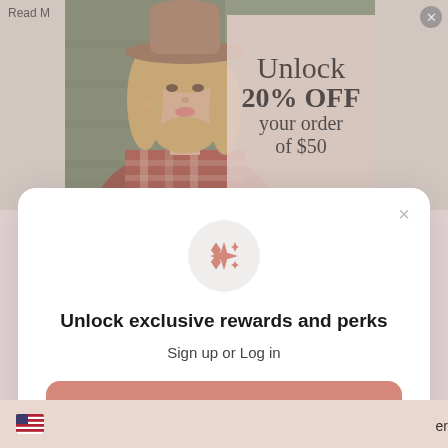Read M
[Figure (photo): Woman wearing a brown wide-brim hat and red plaid shirt with a promotional overlay showing 'Unlock 20% OFF your order of $50']
Unlock exclusive rewards and perks
Sign up or Log in
Sign up
Already have an account? Sign in